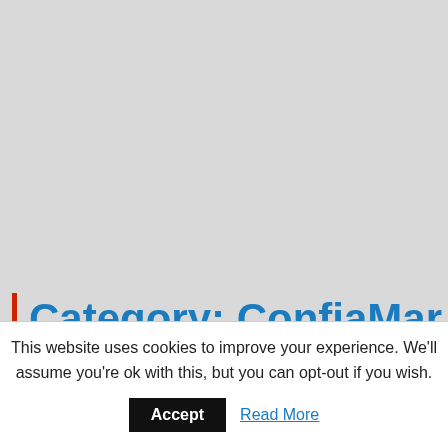[Figure (screenshot): Gray background area representing a webpage screenshot]
Category: ConfiaMar
This website uses cookies to improve your experience. We'll assume you're ok with this, but you can opt-out if you wish.
Accept
Read More